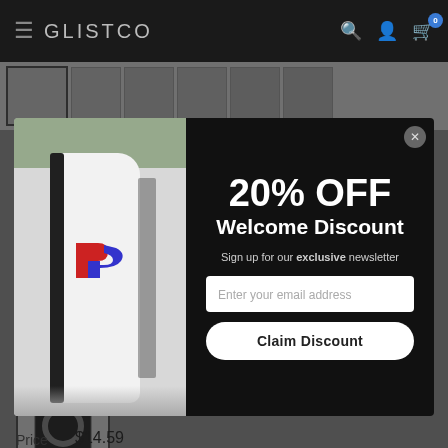GLISTCO
[Figure (screenshot): E-commerce product page with modal popup offering 20% OFF Welcome Discount, featuring a PS5 console image on the left and a sign-up form on the right with email input and Claim Discount button]
20% OFF
Welcome Discount
Sign up for our exclusive newsletter
Enter your email address
Claim Discount
Color: Black
Price  $14.59